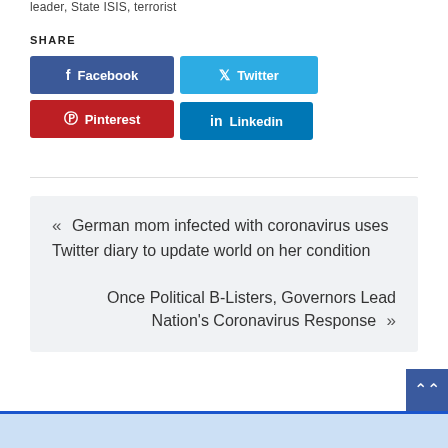leader, State ISIS, terrorist
SHARE
Facebook  Twitter  Pinterest  Linkedin
« German mom infected with coronavirus uses Twitter diary to update world on her condition
Once Political B-Listers, Governors Lead Nation's Coronavirus Response »